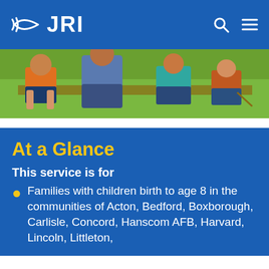JRI
[Figure (photo): Photo of children and adult sitting on a bench outdoors with green grass background]
At a Glance
This service is for
Families with children birth to age 8 in the communities of Acton, Bedford, Boxborough, Carlisle, Concord, Hanscom AFB, Harvard, Lincoln, Littleton,